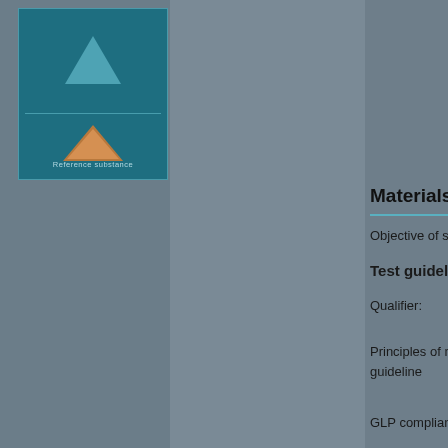[Figure (logo): Science/chemistry laboratory logo with teal background, geometric shapes (triangle and flask), and text below]
Materials an...
Objective of stu...
Test guideline
Qualifier:
Principles of met... guideline
GLP compliance:
Test material
Test material...
Substance info...